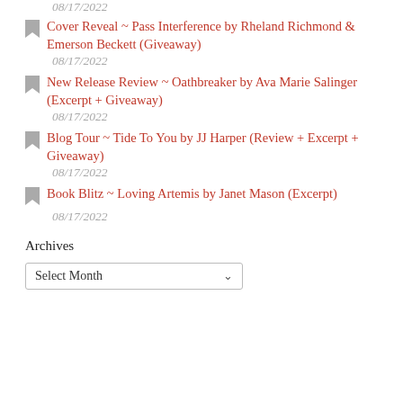Cover Reveal ~ Pass Interference by Rheland Richmond & Emerson Beckett (Giveaway)
08/17/2022
New Release Review ~ Oathbreaker by Ava Marie Salinger (Excerpt + Giveaway)
08/17/2022
Blog Tour ~ Tide To You by JJ Harper (Review + Excerpt + Giveaway)
08/17/2022
Book Blitz ~ Loving Artemis by Janet Mason (Excerpt)
08/17/2022
Archives
Select Month